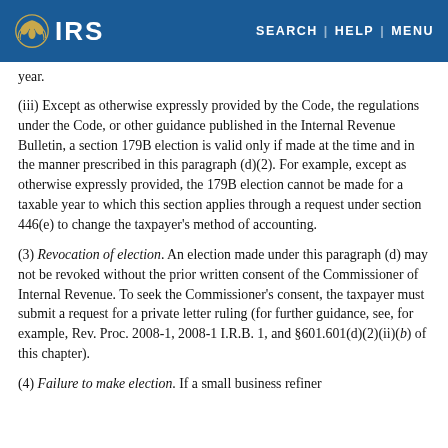IRS | SEARCH | HELP | MENU
year.
(iii) Except as otherwise expressly provided by the Code, the regulations under the Code, or other guidance published in the Internal Revenue Bulletin, a section 179B election is valid only if made at the time and in the manner prescribed in this paragraph (d)(2). For example, except as otherwise expressly provided, the 179B election cannot be made for a taxable year to which this section applies through a request under section 446(e) to change the taxpayer's method of accounting.
(3) Revocation of election. An election made under this paragraph (d) may not be revoked without the prior written consent of the Commissioner of Internal Revenue. To seek the Commissioner's consent, the taxpayer must submit a request for a private letter ruling (for further guidance, see, for example, Rev. Proc. 2008-1, 2008-1 I.R.B. 1, and §601.601(d)(2)(ii)(b) of this chapter).
(4) Failure to make election. If a small business refiner